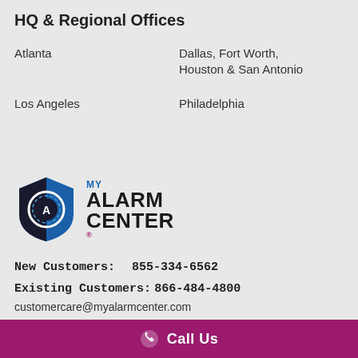HQ & Regional Offices
Atlanta
Dallas, Fort Worth, Houston & San Antonio
Los Angeles
Philadelphia
[Figure (logo): My Alarm Center logo with shield icon and text]
New Customers:    855-334-6562
Existing Customers: 866-484-4800
customercare@myalarmcenter.com
Call Us